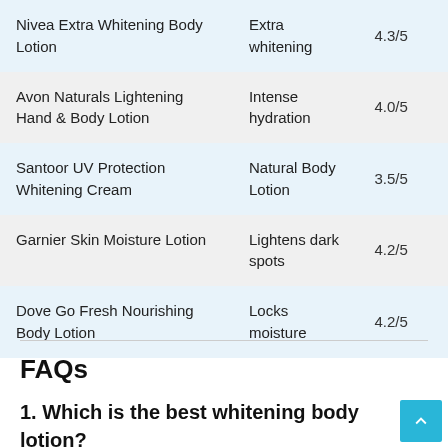| Nivea Extra Whitening Body Lotion | Extra whitening | 4.3/5 |
| Avon Naturals Lightening Hand & Body Lotion | Intense hydration | 4.0/5 |
| Santoor UV Protection Whitening Cream | Natural Body Lotion | 3.5/5 |
| Garnier Skin Moisture Lotion | Lightens dark spots | 4.2/5 |
| Dove Go Fresh Nourishing Body Lotion | Locks moisture | 4.2/5 |
FAQs
1. Which is the best whitening body lotion?